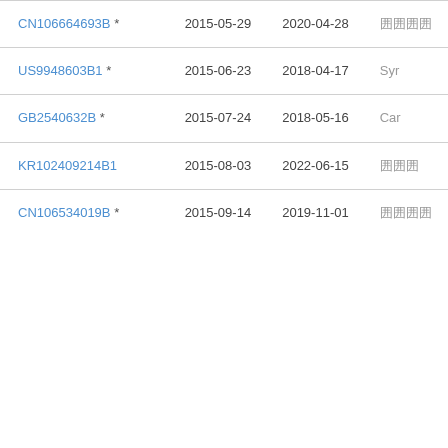| CN106664693B * | 2015-05-29 | 2020-04-28 | 囲囲囲囲 |
| US9948603B1 * | 2015-06-23 | 2018-04-17 | Syr |
| GB2540632B * | 2015-07-24 | 2018-05-16 | Car |
| KR102409214B1 | 2015-08-03 | 2022-06-15 | 囲囲囲 |
| CN106534019B * | 2015-09-14 | 2019-11-01 | 囲囲囲囲 |